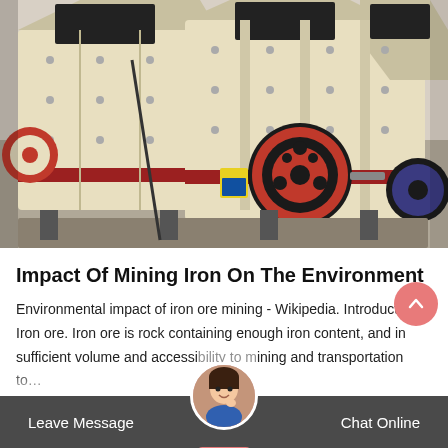[Figure (photo): Industrial impact crushers / mining machinery in cream/off-white color with red accents, including a prominent red flywheel, photographed in a factory or warehouse setting.]
Impact Of Mining Iron On The Environment
Environmental impact of iron ore mining - Wikipedia. Introduction Iron ore. Iron ore is rock containing enough iron content, and in sufficient volume and accessibility to mining and transportation to...
Leave Message | Chat Online